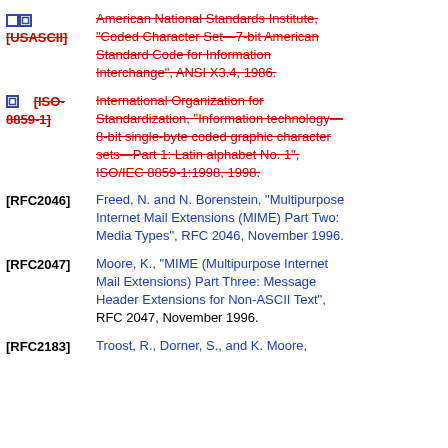[USASCII] American National Standards Institute, “Coded Character Set—7-bit American Standard Code for Information Interchange”, ANSI X3.4, 1986. (strikethrough, red)
[ISO-8859-1] International Organization for Standardization, “Information technology—8-bit single-byte coded graphic character sets—Part 1: Latin alphabet No. 1”, ISO/IEC 8859-1:1998, 1998. (strikethrough, red)
[RFC2046] Freed, N. and N. Borenstein, “Multipurpose Internet Mail Extensions (MIME) Part Two: Media Types”, RFC 2046, November 1996.
[RFC2047] Moore, K., “MIME (Multipurpose Internet Mail Extensions) Part Three: Message Header Extensions for Non-ASCII Text”, RFC 2047, November 1996.
[RFC2183] Troost, R., Dorner, S., and K. Moore,